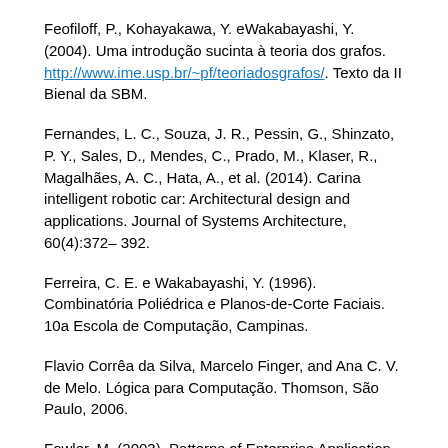Feofiloff, P., Kohayakawa, Y. eWakabayashi, Y. (2004). Uma introdução sucinta à teoria dos grafos. http://www.ime.usp.br/~pf/teoriadosgrafos/. Texto da II Bienal da SBM.
Fernandes, L. C., Souza, J. R., Pessin, G., Shinzato, P. Y., Sales, D., Mendes, C., Prado, M., Klaser, R., Magalhães, A. C., Hata, A., et al. (2014). Carina intelligent robotic car: Architectural design and applications. Journal of Systems Architecture, 60(4):372–392.
Ferreira, C. E. e Wakabayashi, Y. (1996). Combinatória Poliédrica e Planos-de-Corte Faciais. 10a Escola de Computação, Campinas.
Flavio Corrêa da Silva, Marcelo Finger, and Ana C. V. de Melo. Lógica para Computação. Thomson, São Paulo, 2006.
Fowler, M. (2003). Patterns of Enterprise Application Architecture.